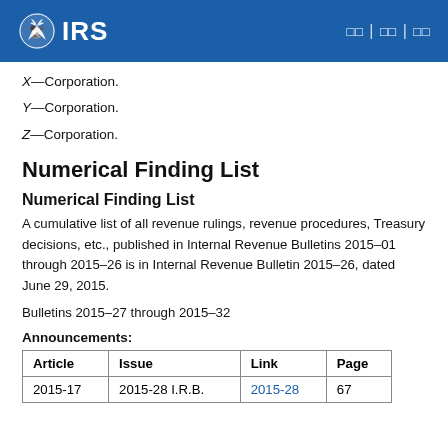IRS | Navigation links
X—Corporation.
Y—Corporation.
Z—Corporation.
Numerical Finding List
Numerical Finding List
A cumulative list of all revenue rulings, revenue procedures, Treasury decisions, etc., published in Internal Revenue Bulletins 2015–01 through 2015–26 is in Internal Revenue Bulletin 2015–26, dated June 29, 2015.
Bulletins 2015–27 through 2015–32
Announcements:
| Article | Issue | Link | Page |
| --- | --- | --- | --- |
| 2015-17 | 2015-28 I.R.B. | 2015-28 | 67 |